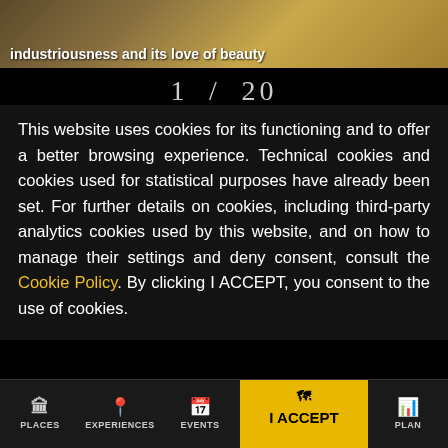[Figure (photo): Partial photo of a scene with text overlay reading 'industriousness and its love of beauty' in white on a warm golden-brown background]
1 / 20
This website uses cookies for its functioning and to offer a better browsing experience. Technical cookies and cookies used for statistical purposes have already been set. For further details on cookies, including third-party analytics cookies used by this website, and on how to manage their settings and deny consent, consult the Cookie Policy. By clicking I ACCEPT, you consent to the use of cookies.
PLACES | EXPERIENCES | EVENTS | I ACCEPT ITINERARIES | PLAN